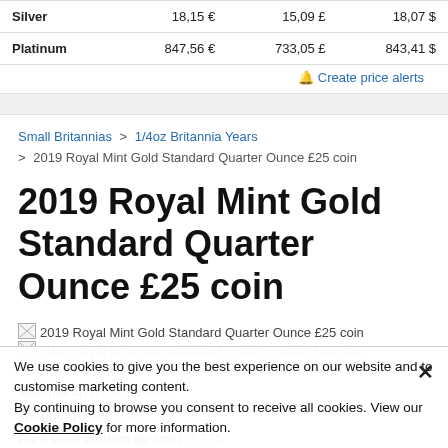|  | EUR | GBP | USD |
| --- | --- | --- | --- |
| Silver | 18,15 € | 15,09 £ | 18,07 $ |
| Platinum | 847,56 € | 733,05 £ | 843,41 $ |
🔔 Create price alerts
Small Britannias > 1/4oz Britannia Years > 2019 Royal Mint Gold Standard Quarter Ounce £25 coin
2019 Royal Mint Gold Standard Quarter Ounce £25 coin
[Figure (photo): 2019 Royal Mint Gold Standard Quarter Ounce £25 coin (broken image)]
[Figure (photo): 2019 Royal Mint Gold Standard Quarter Ounce £25 coin (broken image)]
[Figure (photo): 2019 Royal Mint Gold Standard Quarter Ounce £25 coin (broken image)]
Manufacturer: Royal Mint
Weight (grams): 7.8
Pure Gold content (grams): 7.775
We use cookies to give you the best experience on our website and to customise marketing content. By continuing to browse you consent to receive all cookies. View our Cookie Policy for more information.